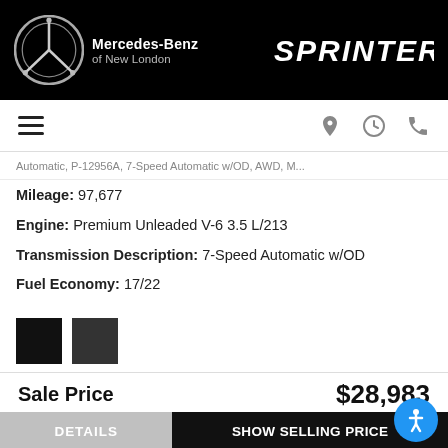Mercedes-Benz of New London | SPRINTER
Automatic, P-12956A, 7-Speed Automatic w/OD, AWD, M...
Mileage: 97,677
Engine: Premium Unleaded V-6 3.5 L/213
Transmission Description: 7-Speed Automatic w/OD
Fuel Economy: 17/22
Sale Price  $28,983
DETAILS  |  SHOW SELLING PRICE